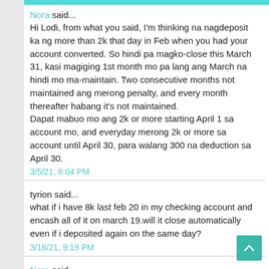Nora said... Hi Lodi, from what you said, I'm thinking na nagdeposit ka ng more than 2k that day in Feb when you had your account converted. So hindi pa magko-close this March 31, kasi magiging 1st month mo pa lang ang March na hindi mo ma-maintain. Two consecutive months not maintained ang merong penalty, and every month thereafter habang it's not maintained. Dapat mabuo mo ang 2k or more starting April 1 sa account mo, and everyday merong 2k or more sa account until April 30, para walang 300 na deduction sa April 30. 3/5/21, 6:04 PM
tyrion said... what if i have 8k last feb 20 in my checking account and encash all of it on march 19.will it close automatically even if i deposited again on the same day? 3/18/21, 9:19 PM
Nora said...